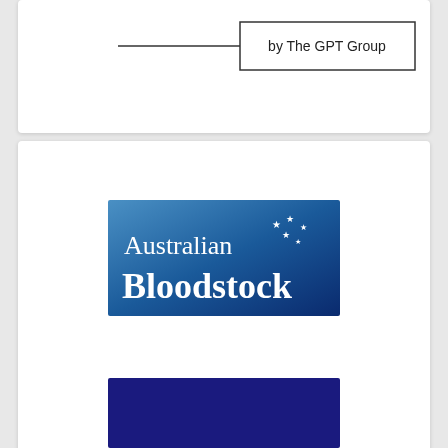[Figure (logo): Box with text 'by The GPT Group' with a horizontal line extending to the left]
[Figure (logo): Australian Bloodstock logo — blue gradient rectangle with white text 'Australian Bloodstock' and Southern Cross stars]
[Figure (logo): Dark navy/indigo blue rectangle, partial view of another logo at bottom of page]